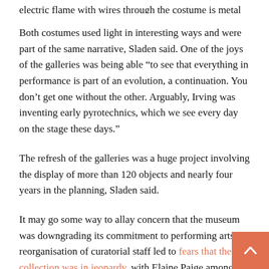electric flame with wires through the costume is metal plated mesh.
Both costumes used light in interesting ways and were part of the same narrative, Sladen said. One of the joys of the galleries was being able “to see that everything in performance is part of an evolution, a continuation. You don’t get one without the other. Arguably, Irving was inventing early pyrotechnics, which we see every day on the stage these days.”
The refresh of the galleries was a huge project involving the display of more than 120 objects and nearly four years in the planning, Sladen said.
It may go some way to allay concern that the museum was downgrading its commitment to performing arts. A reorganisation of curatorial staff led to fears that the collection was in jeopardy, with Elaine Paige among those to ring alarm bells.
The V&A said preserving the national collection of theatre and performance remained fundamental to its mission.